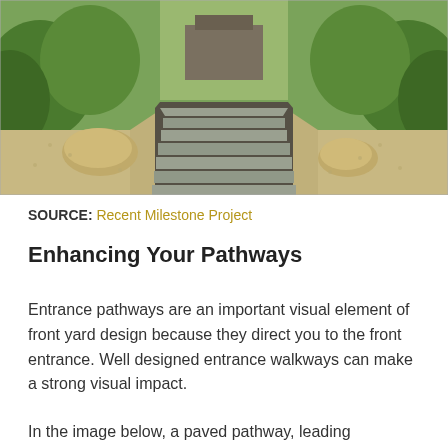[Figure (photo): Photograph of a formal garden pathway with rectangular stone/slate pavers arranged in a long rectangular strip bordered by dark pebbles, flanked by gravel and large rocks on either side, with lush green shrubs and trees lining both sides leading to a structure in the background.]
SOURCE: Recent Milestone Project
Enhancing Your Pathways
Entrance pathways are an important visual element of front yard design because they direct you to the front entrance. Well designed entrance walkways can make a strong visual impact.
In the image below, a paved pathway, leading